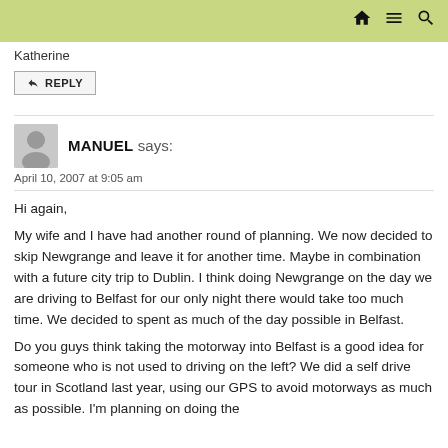Katherine
REPLY
MANUEL says:
April 10, 2007 at 9:05 am
Hi again,
My wife and I have had another round of planning. We now decided to skip Newgrange and leave it for another time. Maybe in combination with a future city trip to Dublin. I think doing Newgrange on the day we are driving to Belfast for our only night there would take too much time. We decided to spent as much of the day possible in Belfast.
Do you guys think taking the motorway into Belfast is a good idea for someone who is not used to driving on the left? We did a self drive tour in Scotland last year, using our GPS to avoid motorways as much as possible. I'm planning on doing the